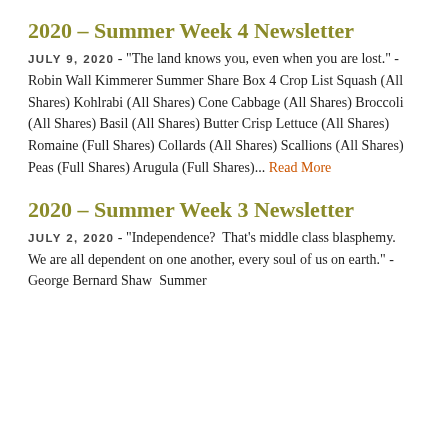2020 – Summer Week 4 Newsletter
JULY 9, 2020 - "The land knows you, even when you are lost." -Robin Wall Kimmerer Summer Share Box 4 Crop List Squash (All Shares) Kohlrabi (All Shares) Cone Cabbage (All Shares) Broccoli (All Shares) Basil (All Shares) Butter Crisp Lettuce (All Shares) Romaine (Full Shares) Collards (All Shares) Scallions (All Shares) Peas (Full Shares) Arugula (Full Shares)... Read More
2020 – Summer Week 3 Newsletter
JULY 2, 2020 - "Independence?  That's middle class blasphemy.  We are all dependent on one another, every soul of us on earth." -George Bernard Shaw  Summer